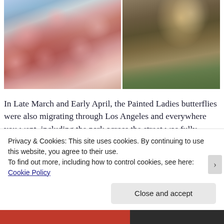[Figure (photo): Two side-by-side photos: left shows pink cherry blossom flowers on dark branches against a blue sky; right shows bare dark tree branches with sunlight filtering through, green grass visible below.]
In Late March and Early April, the Painted Ladies butterflies were also migrating through Los Angeles and everywhere you went, including the park across the street was fully surrounded by thousands of these butterflies.
Privacy & Cookies: This site uses cookies. By continuing to use this website, you agree to their use.
To find out more, including how to control cookies, see here: Cookie Policy